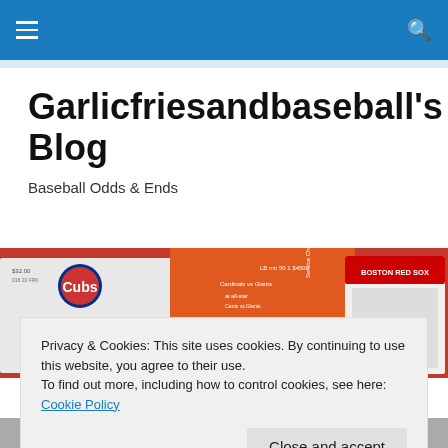Navigation bar with hamburger menu and search icon
Garlicfriesandbaseball's Blog
Baseball Odds & Ends
[Figure (photo): Baseball tickets photo showing Chicago Cubs vs Cincinnati Reds ticket, Cardinals vs Giants ticket, and Boston Red Sox card on a red background]
Privacy & Cookies: This site uses cookies. By continuing to use this website, you agree to their use.
To find out more, including how to control cookies, see here: Cookie Policy
Close and accept
[Figure (photo): Partial bottom image, appears to be a baseball-related illustration or photo in black and white]